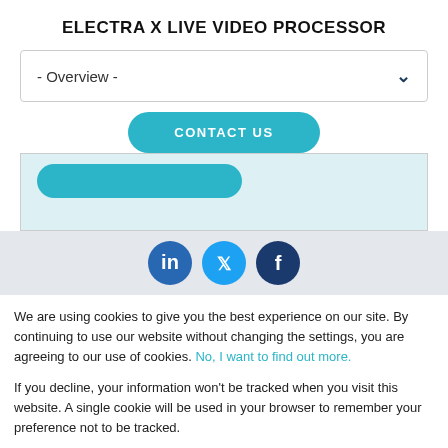ELECTRA X LIVE VIDEO PROCESSOR
- Overview -
CONTACT US
[Figure (screenshot): Partial teal rounded button visible, blue background box]
[Figure (infographic): Social media icons: LinkedIn (blue), Twitter (teal), Facebook (dark blue)]
We are using cookies to give you the best experience on our site. By continuing to use our website without changing the settings, you are agreeing to our use of cookies. No, I want to find out more.
If you decline, your information won't be tracked when you visit this website. A single cookie will be used in your browser to remember your preference not to be tracked.
Accept
Decline